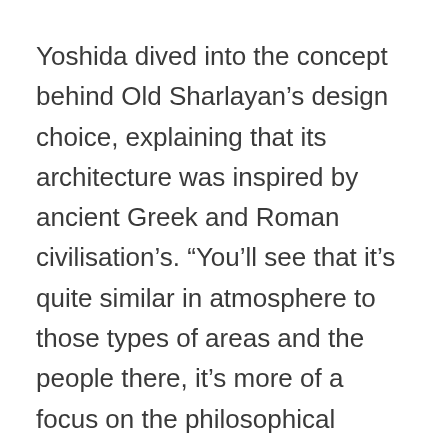Yoshida dived into the concept behind Old Sharlayan's design choice, explaining that its architecture was inspired by ancient Greek and Roman civilisation's. “You’ll see that it’s quite similar in atmosphere to those types of areas and the people there, it’s more of a focus on the philosophical nature, so it’s kind of like a balance of harmony with nature and the people,” Yoshida said. “The areas which you see in Old Sharlayan where there is just nature or raw nature, just right there in the open, that’s because of this kind of philosophical approach and the balance between people and nature. So it’s really to show the wealth that exists in